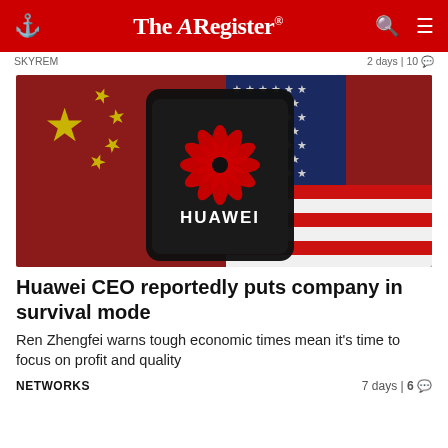The Register
SKYREM   2 days | 10
[Figure (photo): Huawei smartphone displaying the Huawei lotus logo in front of Chinese and American flags]
Huawei CEO reportedly puts company in survival mode
Ren Zhengfei warns tough economic times mean it's time to focus on profit and quality
NETWORKS   7 days | 6